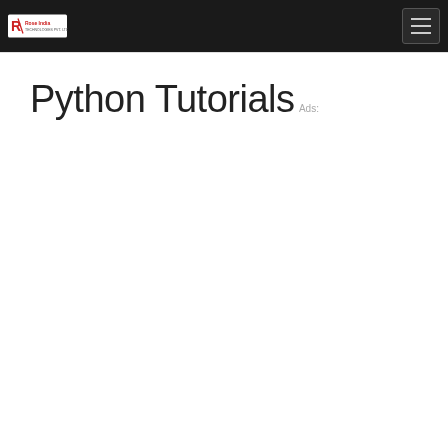Rose India Technologies Pvt. Ltd.
Python Tutorials
Ads: